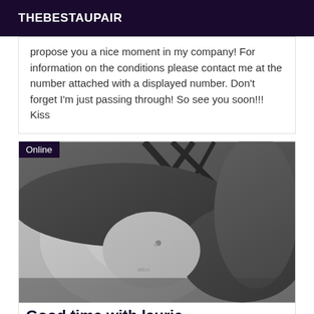THEBESTAUPAIR
propose you a nice moment in my company! For information on the conditions please contact me at the number attached with a displayed number. Don't forget I'm just passing through! So see you soon!!! Kiss
[Figure (photo): Grayscale close-up photo of a woman wearing a black strappy top, with a belly piercing and tattoo visible, arm raised. 'Online' badge in top-left corner.]
Good time with laurie